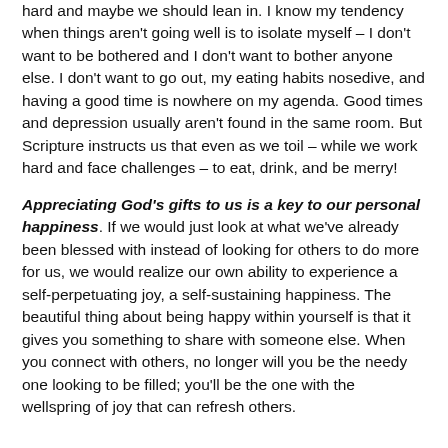hard and maybe we should lean in. I know my tendency when things aren't going well is to isolate myself – I don't want to be bothered and I don't want to bother anyone else. I don't want to go out, my eating habits nosedive, and having a good time is nowhere on my agenda. Good times and depression usually aren't found in the same room. But Scripture instructs us that even as we toil – while we work hard and face challenges – to eat, drink, and be merry!
Appreciating God's gifts to us is a key to our personal happiness. If we would just look at what we've already been blessed with instead of looking for others to do more for us, we would realize our own ability to experience a self-perpetuating joy, a self-sustaining happiness. The beautiful thing about being happy within yourself is that it gives you something to share with someone else. When you connect with others, no longer will you be the needy one looking to be filled; you'll be the one with the wellspring of joy that can refresh others.